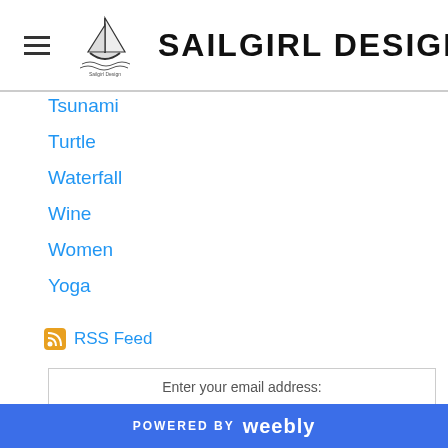SAILGIRL DESIGN
Tsunami
Turtle
Waterfall
Wine
Women
Yoga
RSS Feed
Enter your email address:
Subscribe
POWERED BY weebly